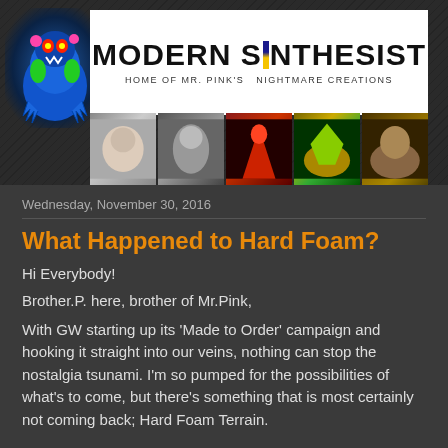[Figure (illustration): Modern Synthesist blog header banner with a colorful monster character on the left, the site title 'Modern Synthesist' in bold black text on white background with subtitle 'home of Mr. Pink's Nightmare Creations', and a strip of five miniature figurine thumbnail images below the white banner area. Dark patterned background with diagonal lines.]
Wednesday, November 30, 2016
What Happened to Hard Foam?
Hi Everybody!
Brother.P. here, brother of Mr.Pink,
With GW starting up its 'Made to Order' campaign and hooking it straight into our veins, nothing can stop the nostalgia tsunami. I'm so pumped for the possibilities of what's to come, but there's something that is most certainly not coming back; Hard Foam Terrain.